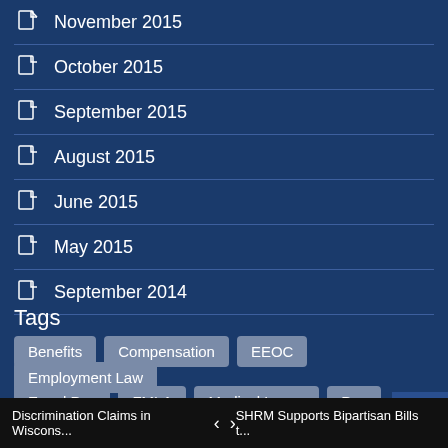November 2015
October 2015
September 2015
August 2015
June 2015
May 2015
September 2014
Tags
Benefits
Compensation
EEOC
Employment Law
Equal Pay
FMLA
Medical Leave
Pay
Discrimination Claims in Wiscons... < > SHRM Supports Bipartisan Bills t...